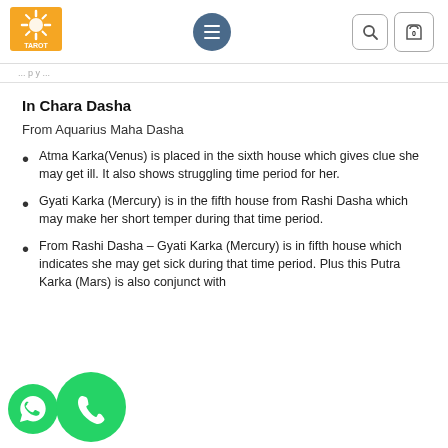[Figure (logo): Tarot School of India logo - orange square with sun/star graphic and text TAROT below]
Navigation header with hamburger menu, search icon, and cart (0)
Breadcrumb navigation bar
In Chara Dasha
From Aquarius Maha Dasha
Atma Karka(Venus) is placed in the sixth house which gives clue she may get ill. It also shows struggling time period for her.
Gyati Karka (Mercury) is in the fifth house from Rashi Dasha which may make her short temper during that time period.
From Rashi Dasha – Gyati Karka (Mercury) is in fifth house which indicates she may get sick during that time period. Plus this Putra Karka (Mars) is also conjunct with Gyati Karka (Mercury).